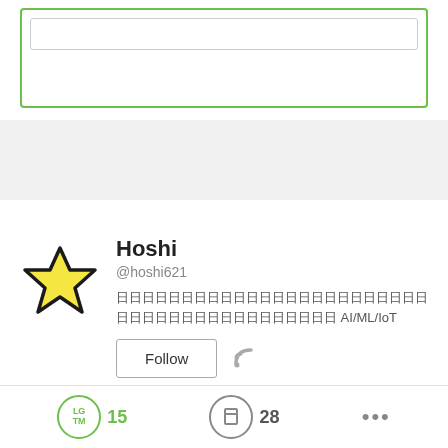[Figure (screenshot): Top green-bordered box with an inner gray-bordered box, partially visible at top]
[Figure (illustration): Gray background bar section]
[Figure (illustration): Yellow star emoji/icon used as profile avatar]
Hoshi
@hoshi621
日日日日日日日日日日日日日日日日日日日日日日日日日日日日日日日日日日日日日日日日日 AI/ML/IoT
Follow
15
28
...